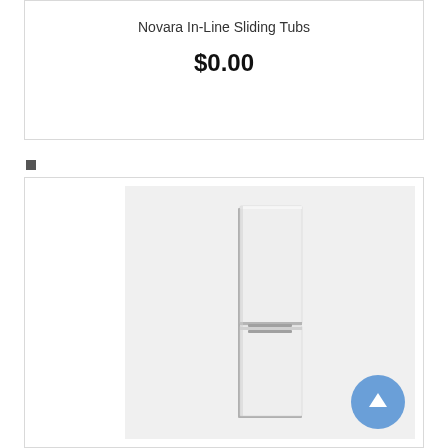Novara In-Line Sliding Tubs
$0.00
[Figure (photo): A tall white column cabinet with two doors and chrome bar handles, shown against a light grey background.]
[Figure (other): Scroll-to-top arrow button (blue circle with white upward arrow)]